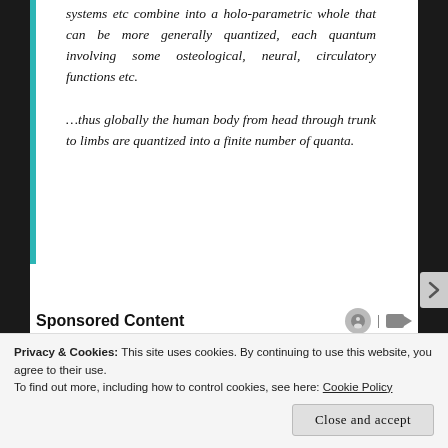systems etc combine into a holo-parametric whole that can be more generally quantized, each quantum involving some osteological, neural, circulatory functions etc.

…thus globally the human body from head through trunk to limbs are quantized into a finite number of quanta.
Sponsored Content
[Figure (photo): Advertisement banner for Marvel Strike Force game, Thor Love and Thunder edition. Dark purple/blue background with Thor logo in gold, Marvel Strike Force text in yellow, and glowing blue superhero figure.]
Privacy & Cookies: This site uses cookies. By continuing to use this website, you agree to their use.
To find out more, including how to control cookies, see here: Cookie Policy
Close and accept